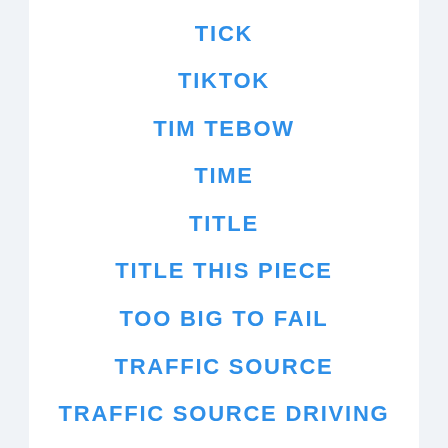TICK
TIKTOK
TIM TEBOW
TIME
TITLE
TITLE THIS PIECE
TOO BIG TO FAIL
TRAFFIC SOURCE
TRAFFIC SOURCE DRIVING